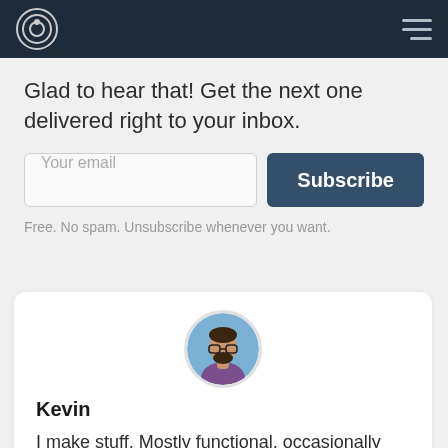Glad to hear that! Get the next one delivered right to your inbox.
Your email | Subscribe
Free. No spam. Unsubscribe whenever you want.
[Figure (photo): Circular avatar photo of Kevin, a man with beard and glasses, wearing a purple shirt, with a blue background]
Kevin
I make stuff. Mostly functional, occasionally shiny, stuff.